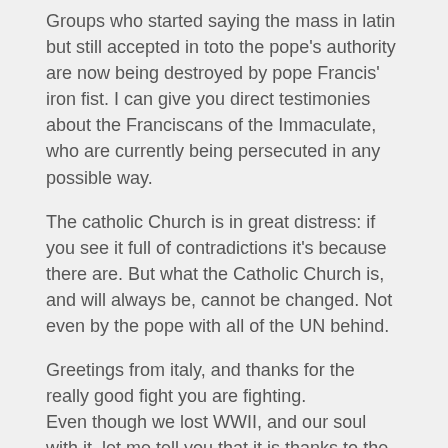Groups who started saying the mass in latin but still accepted in toto the pope's authority are now being destroyed by pope Francis' iron fist. I can give you direct testimonies about the Franciscans of the Immaculate, who are currently being persecuted in any possible way.
The catholic Church is in great distress: if you see it full of contradictions it's because there are. But what the Catholic Church is, and will always be, cannot be changed. Not even by the pope with all of the UN behind.
Greetings from italy, and thanks for the really good fight you are fighting.
Even though we lost WWII, and our soul with it, let me tell you that it is thanks to the work of people like you that more and more of us are opening their eyes.
Pietro
Reply
The Saker  on January 24, 2018  ·  at 11:45 pm EST/EDT